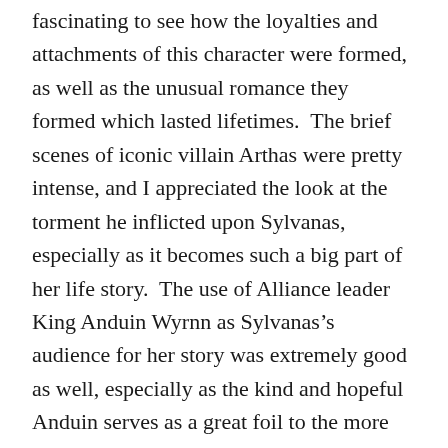fascinating to see how the loyalties and attachments of this character were formed, as well as the unusual romance they formed which lasted lifetimes.  The brief scenes of iconic villain Arthas were pretty intense, and I appreciated the look at the torment he inflicted upon Sylvanas, especially as it becomes such a big part of her life story.  The use of Alliance leader King Anduin Wyrnn as Sylvanas’s audience for her story was extremely good as well, especially as the kind and hopeful Anduin serves as a great foil to the more cynical Sylvanas.  Watching these two jab at each other in the interludes was an excellent and emotional part of the novel, with Anduin trying to convince her back into the light at the same time she’s trying to bring him towards her side.  These scenes get even more intense